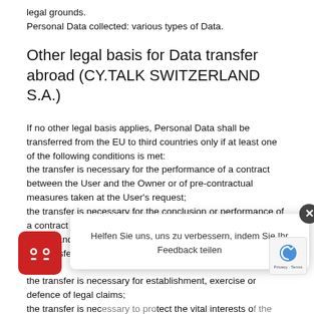legal grounds.
Personal Data collected: various types of Data.
Other legal basis for Data transfer abroad (CY.TALK SWITZERLAND S.A.)
If no other legal basis applies, Personal Data shall be transferred from the EU to third countries only if at least one of the following conditions is met:
the transfer is necessary for the performance of a contract between the User and the Owner or of pre-contractual measures taken at the User's request;
the transfer is necessary for the conclusion or performance of a contract concluded in the interest of the User between the Owner and another natural or legal person;
the transfer is necessary for important reasons of public interest;
the transfer is necessary for establishment, exercise or defence of legal claims;
the transfer is necessary to protect the vital interests of the data subject or of others, where the data subject is physically or legally incapable of giving consent;
In such cases, the Owner shall inform the User about the legal bases the transfer is based on via CY.TALK